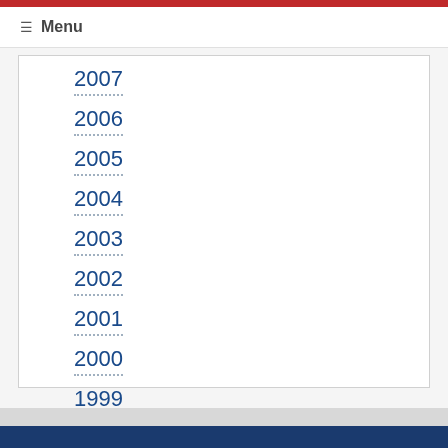Menu
2007
2006
2005
2004
2003
2002
2001
2000
1999
1998